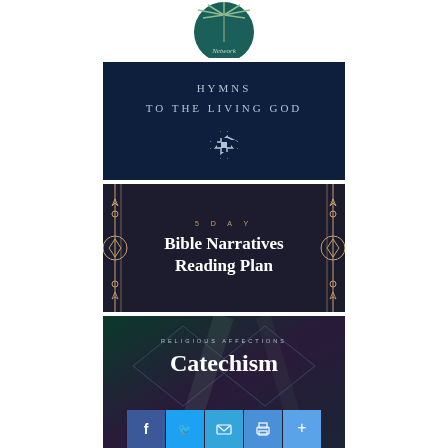[Figure (logo): Circular logo with palm tree and text 'Network' at bottom, teal/dark green color]
[Figure (illustration): Dark navy blue banner reading 'HYMNS TO THE LIVING GOD' with a Maltese cross symbol below]
[Figure (illustration): Dark navy banner with gold ornamental designs on sides, text '5 DAY' in small gold letters, 'Bible Narratives Reading Plan' in large bold white serif text]
[Figure (illustration): Dark teal/purple geometric diamond-pattern background with text 'RELIGIOUS AFFECTIONS' in small caps and 'Catechism' in large white serif text, social share icons at bottom (Facebook, Twitter, Email, Print, More)]